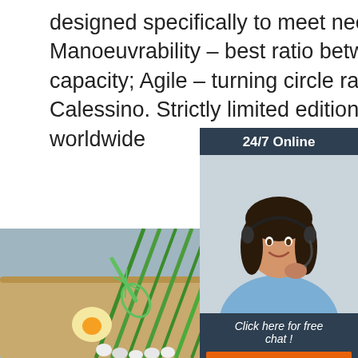designed specifically to meet needs of different businesses; Manoeuvrability – best ratio between payload and volume capacity; Agile – turning circle radius of just 3.7m; New Calessino. Strictly limited edition – only models available worldwide
[Figure (infographic): 24/7 Online chat widget showing a woman with a headset, with 'Click here for free chat!' text and a QUOTATION button]
Get Price
[Figure (photo): Kitchen scene with green onions, eggs, a whisk, and a bowl on a wooden cutting board with a blue-grey background]